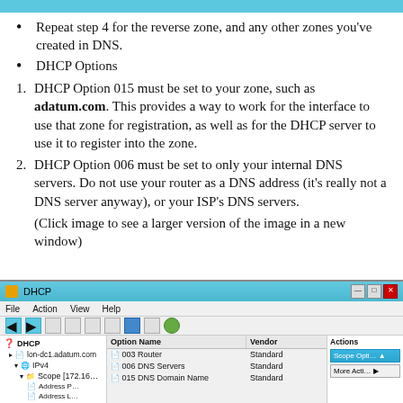Repeat step 4 for the reverse zone, and any other zones you've created in DNS.
DHCP Options
DHCP Option 015 must be set to your zone, such as adatum.com. This provides a way to work for the interface to use that zone for registration, as well as for the DHCP server to use it to register into the zone.
DHCP Option 006 must be set to only your internal DNS servers. Do not use your router as a DNS address (it's really not a DNS server anyway), or your ISP's DNS servers.
(Click image to see a larger version of the image in a new window)
[Figure (screenshot): Windows DHCP management console showing scope options with Option Name, Vendor, Value, and Actions columns. Entries include 003 Router (Standard, 172.16.0.1), 006 DNS Servers (Standard, 172.16.0.10), and 015 DNS Domain Name (Standard, Adatum.com). Left panel shows DHCP tree with lon-dc1.adatum.com > IPv4 > Scope [172.16...] > Address Pool, Address Leases.]